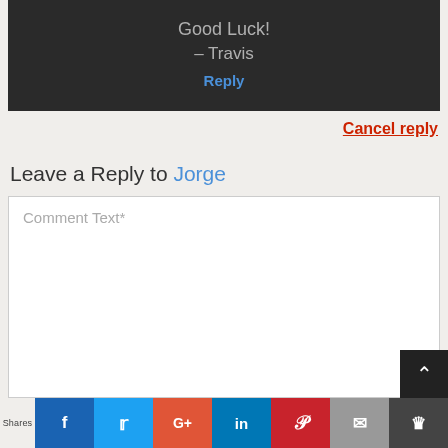Good Luck!
– Travis
Reply
Cancel reply
Leave a Reply to Jorge
Comment Text*
[Figure (screenshot): Social sharing bar with Shares label, Facebook, Twitter, Google+, LinkedIn, Pinterest, Email, and a crown/bookmark icon buttons]
Shares